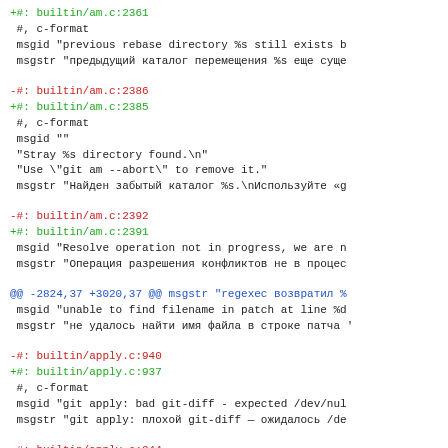+#: builtin/am.c:2361
 #, c-format
 msgid "previous rebase directory %s still exists b
 msgstr "предыдущий каталог перемещения %s еще суще
-#: builtin/am.c:2386
+#: builtin/am.c:2385
 #, c-format
 msgid ""
 "Stray %s directory found.\n"
 "Use \"git am --abort\" to remove it."
 msgstr "Найден забытый каталог %s.\nИспользуйте «g
-#: builtin/am.c:2392
+#: builtin/am.c:2391
 msgid "Resolve operation not in progress, we are n
 msgstr "Операция разрешения конфликтов не в процес
@@ -2824,37 +3020,37 @@ msgstr "regexec возвратил %
 msgid "unable to find filename in patch at line %d
 msgstr "не удалось найти имя файла в строке патча '
-#: builtin/apply.c:940
+#: builtin/apply.c:937
 #, c-format
 msgid "git apply: bad git-diff - expected /dev/nul
 msgstr "git apply: плохой git-diff — ожидалось /de
-#: builtin/apply.c:944
+#: builtin/apply.c:942